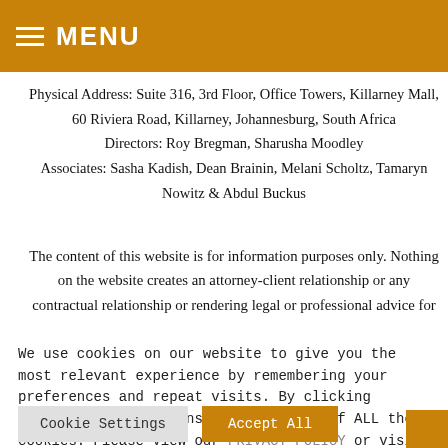MENU
Physical Address: Suite 316, 3rd Floor, Office Towers, Killarney Mall, 60 Riviera Road, Killarney, Johannesburg, South Africa
Directors: Roy Bregman, Sharusha Moodley
Associates: Sasha Kadish, Dean Brainin, Melani Scholtz, Tamaryn Nowitz & Abdul Buckus
The content of this website is for information purposes only. Nothing on the website creates an attorney-client relationship or any contractual relationship or rendering legal or professional advice for
We use cookies on our website to give you the most relevant experience by remembering your preferences and repeat visits. By clicking "Accept All", you consent to the use of ALL the cookies. Please view our PRIVACY POLICY or visit "Cookie Settings" to provide a controlled consent.